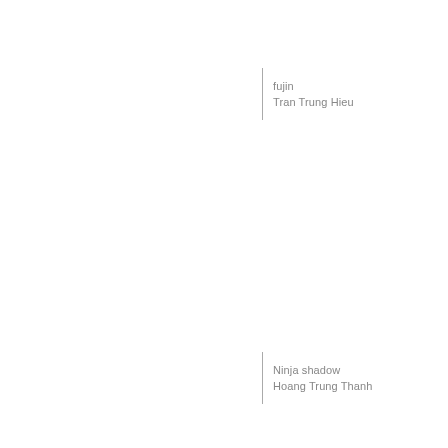fujin
Tran Trung Hieu
Ninja shadow
Hoang Trung Thanh